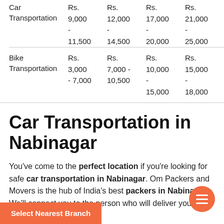| Service | Col1 | Col2 | Col3 | Col4 |
| --- | --- | --- | --- | --- |
| Car Transportation | Rs. 9,000 - 11,500 | Rs. 12,000 - 14,500 | Rs. 17,000 - 20,000 | Rs. 21,000 - 25,000 |
| Bike Transportation | Rs. 3,000 - 7,000 | Rs. 7,000 - 10,500 | Rs. 10,000 - 15,000 | Rs. 15,000 - 18,000 |
Car Transportation in Nabinagar
You've come to the perfect location if you're looking for safe car transportation in Nabinagar. Om Packers and Movers is the hub of India's best packers in Nabinagar. We'll connect you to the person who will deliver your